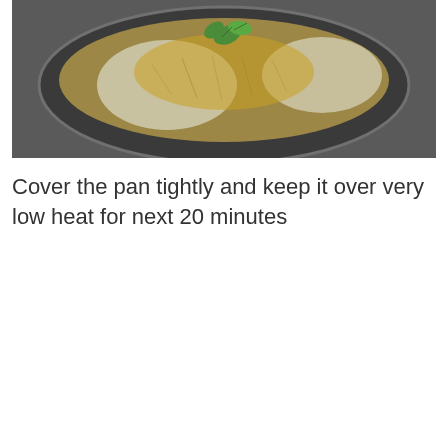[Figure (photo): A dark plate with rice biryani topped with a green herb leaf, viewed from above on a dark background.]
Cover the pan tightly and keep it over very low heat for next 20 minutes